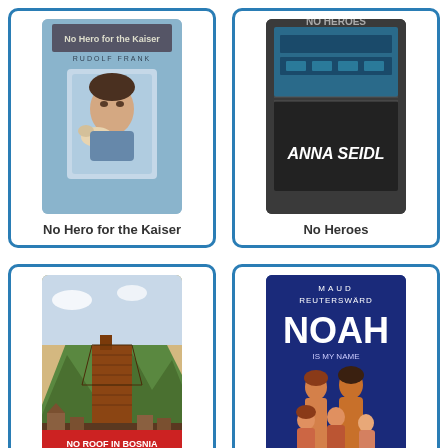[Figure (illustration): Book cover for 'No Hero for the Kaiser' by Rudolf Frank, showing a young man with a dog on a blue illustrated background]
No Hero for the Kaiser
[Figure (illustration): Book cover for 'No Heroes' by Anna Seidl, showing a dark locker or storage unit with 'ANNA SEIDL' written on it]
No Heroes
[Figure (illustration): Book cover for 'No Roof in Bosnia' by Els de Groen, showing a war-damaged building with mountains in the background]
No Roof in Bosnia
[Figure (illustration): Book cover for 'Noah is My Name' by Maud Reuterswärd, showing a group of people including children on a blue background with large NOAH text]
Noah is My Name